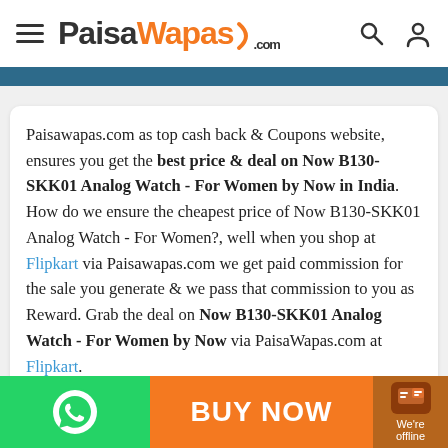PaisaWapas.com
Paisawapas.com as top cash back & Coupons website, ensures you get the best price & deal on Now B130-SKK01 Analog Watch - For Women by Now in India. How do we ensure the cheapest price of Now B130-SKK01 Analog Watch - For Women?, well when you shop at Flipkart via Paisawapas.com we get paid commission for the sale you generate & we pass that commission to you as Reward. Grab the deal on Now B130-SKK01 Analog Watch - For Women by Now via PaisaWapas.com at Flipkart.

The latest price of Now B130-SKK01 Analog Watch -